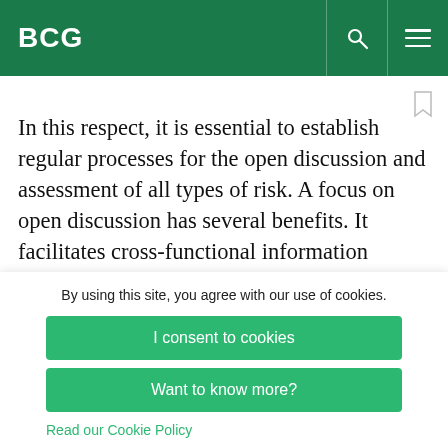BCG
In this respect, it is essential to establish regular processes for the open discussion and assessment of all types of risk. A focus on open discussion has several benefits. It facilitates cross-functional information exchange. It forces the organization to confront the uncertain nature of risk and be
By using this site, you agree with our use of cookies.
I consent to cookies
Want to know more?
Read our Cookie Policy